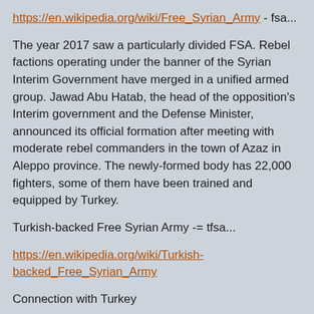https://en.wikipedia.org/wiki/Free_Syrian_Army - fsa...
The year 2017 saw a particularly divided FSA. Rebel factions operating under the banner of the Syrian Interim Government have merged in a unified armed group. Jawad Abu Hatab, the head of the opposition's Interim government and the Defense Minister, announced its official formation after meeting with moderate rebel commanders in the town of Azaz in Aleppo province. The newly-formed body has 22,000 fighters, some of them have been trained and equipped by Turkey.
Turkish-backed Free Syrian Army -= tfsa...
https://en.wikipedia.org/wiki/Turkish-backed_Free_Syrian_Army
Connection with Turkey
The Turkey-backed FSA are the main non-Turkish Armed Forces component of Operation Euphrates Shield. The name is a misnomer, as they are distinct from the Free Syrian Army; their wages are paid for by the Turkish government, they operate alongside the Turkish Armed Forces, and they are generally not local to the area they operate in. Their chain of command has no connection to the Free Syrian Army.[4][62] Injured Turkey-backed FSA troops have been treated in Turkey.[63] The Turkey-backed